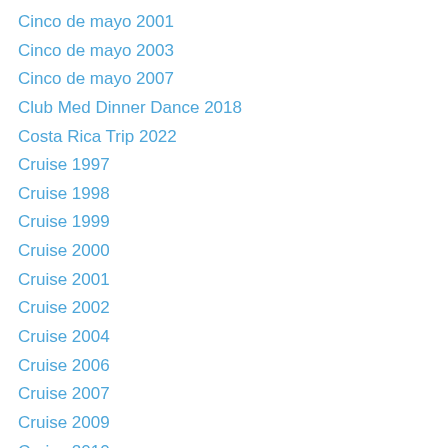Cinco de mayo 2001
Cinco de mayo 2003
Cinco de mayo 2007
Club Med Dinner Dance 2018
Costa Rica Trip 2022
Cruise 1997
Cruise 1998
Cruise 1999
Cruise 2000
Cruise 2001
Cruise 2002
Cruise 2004
Cruise 2006
Cruise 2007
Cruise 2009
Cruise 2010
Cruise 2011
Cruise 2013
Cruise 2014
Cruise 2017